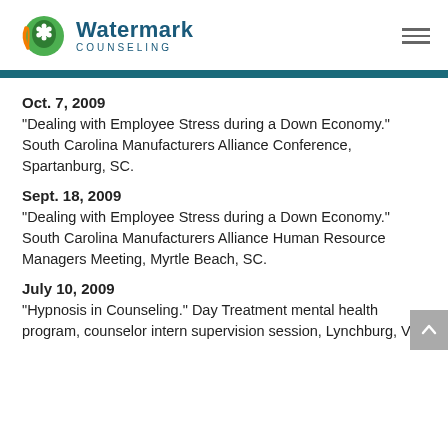Watermark Counseling
Oct. 7, 2009
“Dealing with Employee Stress during a Down Economy.” South Carolina Manufacturers Alliance Conference, Spartanburg, SC.
Sept. 18, 2009
“Dealing with Employee Stress during a Down Economy.” South Carolina Manufacturers Alliance Human Resource Managers Meeting, Myrtle Beach, SC.
July 10, 2009
“Hypnosis in Counseling.” Day Treatment mental health program, counselor intern supervision session, Lynchburg, VA